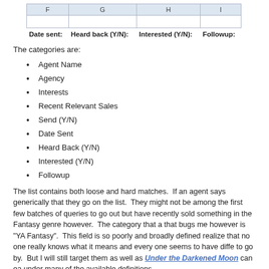| F | G | H | I |
| --- | --- | --- | --- |
|  |  |  |  |
| Date sent: | Heard back (Y/N): | Interested (Y/N): | Followup: |
The categories are:
Agent Name
Agency
Interests
Recent Relevant Sales
Send (Y/N)
Date Sent
Heard Back (Y/N)
Interested (Y/N)
Followup
The list contains both loose and hard matches.  If an agent says generically that they go on the list.  They might not be among the first few batches of queries to go out but have recently sold something in the Fantasy genre however.  The category that bugs me however is "YA Fantasy".  This field is so poorly and broadly defined realize that no one really knows what it means and every one seems to have different to go by.  But I will still target them as well as Under the Darkened Moon can ea under many of the available definitions.
I think that this sort of a list will help me keep track of where my submissions have are any trends in terms of out right rejections versus interest.
Getting Published, Publishers And Agents, The Writing Process